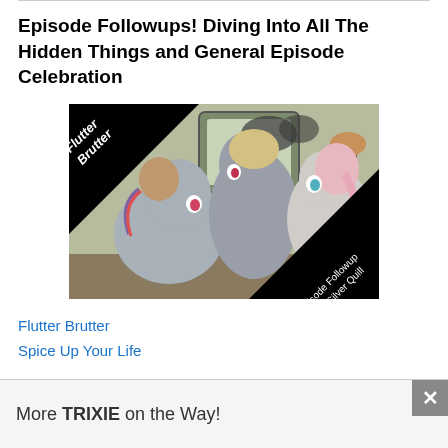Episode Followups! Diving Into All The Hidden Things and General Episode Celebration
[Figure (illustration): Thumbnail image showing My Little Pony characters (Rainbow Dash, a tall gray pony, and Fluttershy) with black diagonal banners reading 'Flutter Brutter' (top-left) and 'Episode Followup with Silver Quill' (bottom-right)]
Flutter Brutter
Spice Up Your Life
More TRIXIE on the Way!